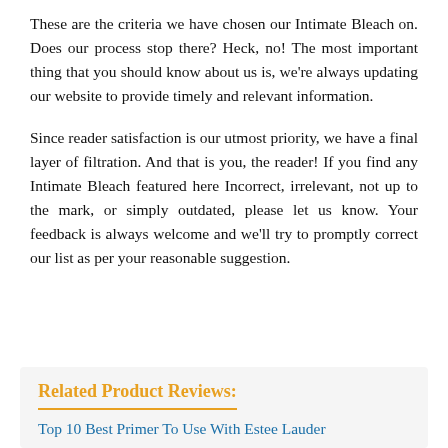These are the criteria we have chosen our Intimate Bleach on. Does our process stop there? Heck, no! The most important thing that you should know about us is, we're always updating our website to provide timely and relevant information.
Since reader satisfaction is our utmost priority, we have a final layer of filtration. And that is you, the reader! If you find any Intimate Bleach featured here Incorrect, irrelevant, not up to the mark, or simply outdated, please let us know. Your feedback is always welcome and we'll try to promptly correct our list as per your reasonable suggestion.
Related Product Reviews:
Top 10 Best Primer To Use With Estee Lauder